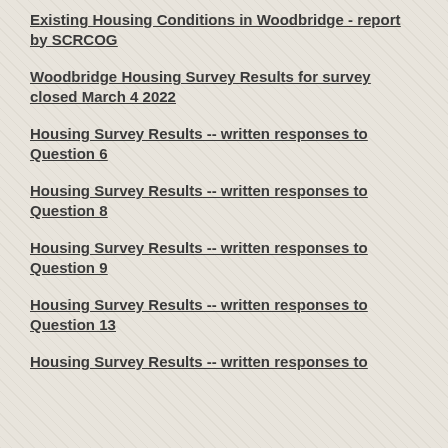Existing Housing Conditions in Woodbridge - report by SCRCOG
Woodbridge Housing Survey Results for survey closed March 4 2022
Housing Survey Results -- written responses to Question 6
Housing Survey Results -- written responses to Question 8
Housing Survey Results -- written responses to Question 9
Housing Survey Results -- written responses to Question 13
Housing Survey Results -- written responses to